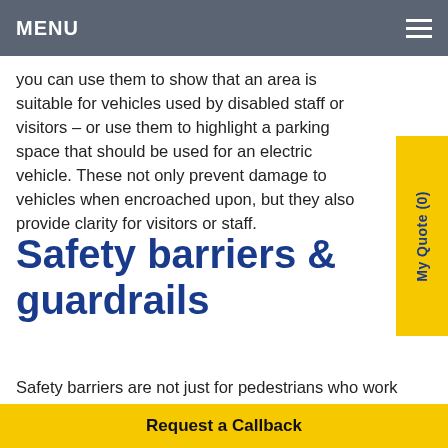MENU
you can use them to show that an area is suitable for vehicles used by disabled staff or visitors – or use them to highlight a parking space that should be used for an electric vehicle. These not only prevent damage to vehicles when encroached upon, but they also provide clarity for visitors or staff.
Safety barriers & guardrails
Safety barriers are not just for pedestrians who work onsite, they also help to protect visitors and warehouse infrastructure from impact damage. You can keep your warehouse areas clearly defined and
My Quote (0)
Request a Callback